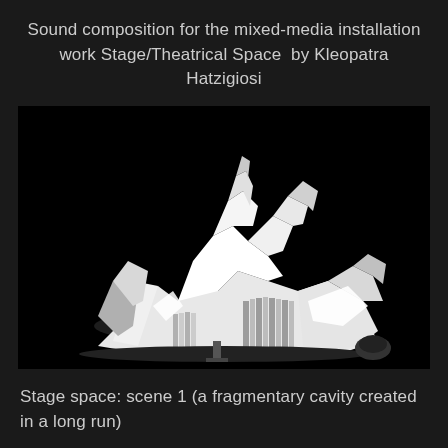Sound composition for the mixed-media installation work Stage/Theatrical Space  by Kleopatra Hatzigiosi
[Figure (photo): Black and white photograph of a mixed-media installation: a dramatic pile of white angular shapes, papers, and flat surfaces lit brightly against a completely black background, creating a sculptural heap in the center of the frame.]
Stage space: scene 1 (a fragmentary cavity created in a long run)